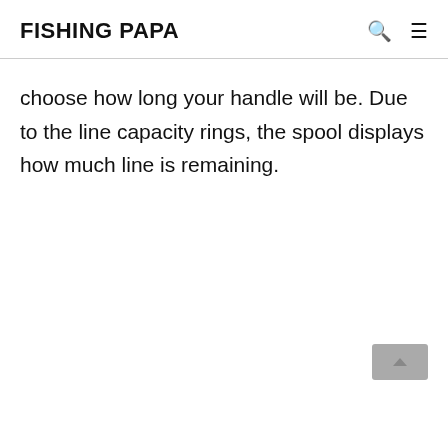FISHING PAPA
choose how long your handle will be. Due to the line capacity rings, the spool displays how much line is remaining.